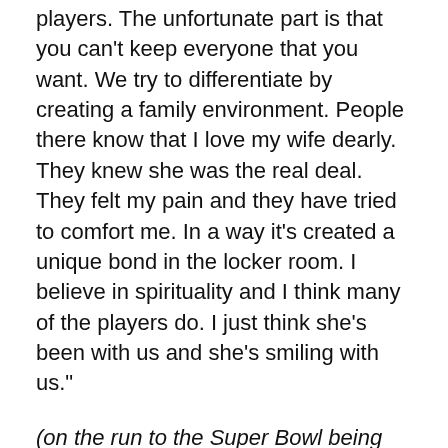players. The unfortunate part is that you can't keep everyone that you want. We try to differentiate by creating a family environment. People there know that I love my wife dearly. They knew she was the real deal. They felt my pain and they have tried to comfort me. In a way it's created a unique bond in the locker room. I believe in spirituality and I think many of the players do. I just think she's been with us and she's smiling with us."
(on the run to the Super Bowl being more special due to the team embracing the Kraft family) "(The team) saved me. I never understood what the word heartbroken meant. It's hard for anyone to relate to it. My wife was 19 and I was 20 when she proposed to me. We had five kids right away. Then they left and we became best pals for 25 years. She was 98 pounds,